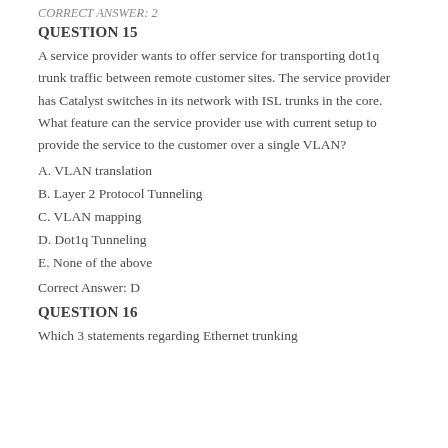CORRECT ANSWER: 2
QUESTION 15
A service provider wants to offer service for transporting dot1q trunk traffic between remote customer sites. The service provider has Catalyst switches in its network with ISL trunks in the core. What feature can the service provider use with current setup to provide the service to the customer over a single VLAN?
A. VLAN translation
B. Layer 2 Protocol Tunneling
C. VLAN mapping
D. Dot1q Tunneling
E. None of the above
Correct Answer: D
QUESTION 16
Which 3 statements regarding Ethernet trunking